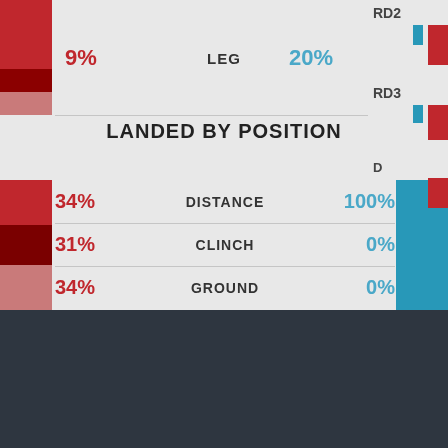[Figure (stacked-bar-chart): LEG]
LANDED BY POSITION
[Figure (stacked-bar-chart): Landed By Position]
UFC STATS © All Rights Reserved | Terms of Use | Privacy Policy
NAV Events Fighters Stats